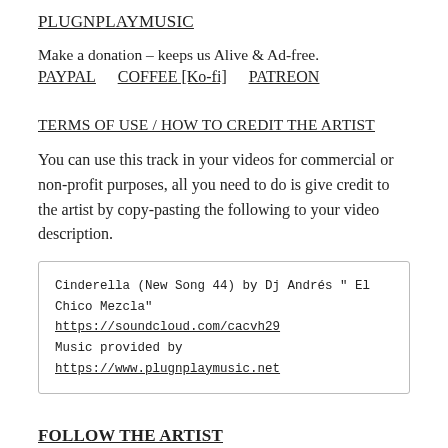PLUGNPLAYMUSIC
Make a donation – keeps us Alive & Ad-free.
PAYPAL   COFFEE [Ko-fi]   PATREON
TERMS OF USE / HOW TO CREDIT THE ARTIST
You can use this track in your videos for commercial or non-profit purposes, all you need to do is give credit to the artist by copy-pasting the following to your video description.
Cinderella (New Song 44) by Dj Andrés " El Chico Mezcla"
https://soundcloud.com/cacvh29
Music provided by
https://www.plugnplaymusic.net
FOLLOW THE ARTIST